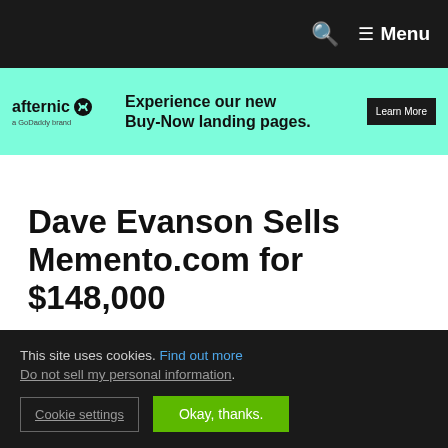Menu
[Figure (screenshot): Afternic (a GoDaddy brand) advertisement banner — 'Experience our new Buy-Now landing pages.' with a Learn More button on a teal background]
Dave Evanson Sells Memento.com for $148,000
July 15, 2020 by James Iles | Leave a comment
This site uses cookies. Find out more Do not sell my personal information.
Cookie settings   Okay, thanks.